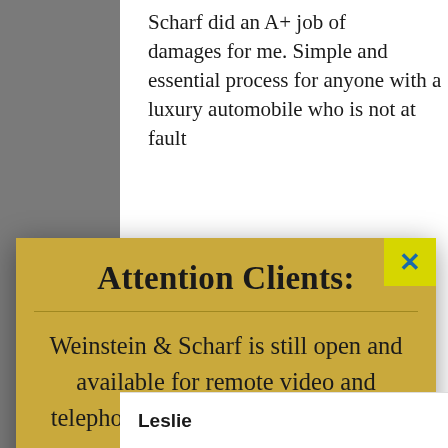Scharf did an A+ job of getting damages for me. Simple and essential process for anyone with a luxury automobile who is not at fault
[Figure (screenshot): Language selector dropdown showing British flag emoji and 'English' text with dropdown arrow]
Attention Clients:
Weinstein & Scharf is still open and available for remote video and telephone consults. We are set up to represent you remotely and are still here to help with your legal options during this time.
Leslie